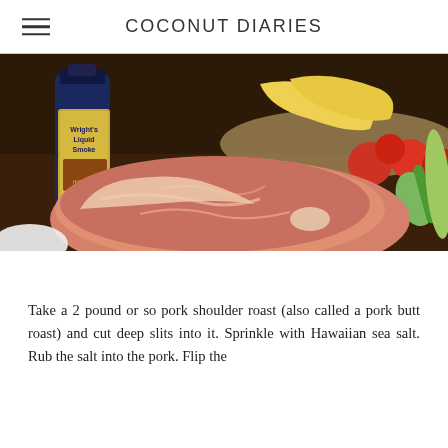COCONUT DIARIES
[Figure (photo): A raw pork shoulder roast on a cutting board, with Wright's Liquid Smoke bottle on the left, and a bowl of bananas, tomatoes, limes, and a green vegetable on the right in the background.]
Take a 2 pound or so pork shoulder roast (also called a pork butt roast) and cut deep slits into it. Sprinkle with Hawaiian sea salt. Rub the salt into the pork. Flip the